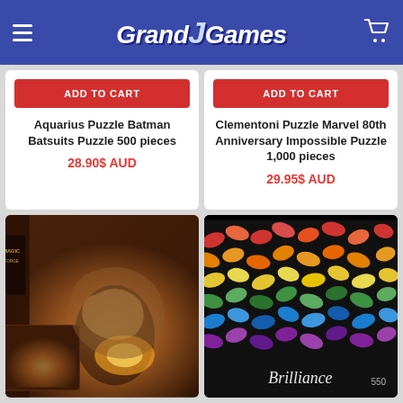GrandJGames
ADD TO CART
Aquarius Puzzle Batman Batsuits Puzzle 500 pieces
28.90$ AUD
ADD TO CART
Clementoni Puzzle Marvel 80th Anniversary Impossible Puzzle 1,000 pieces
29.95$ AUD
[Figure (photo): Puzzle box with fantasy/RPG artwork showing a character near fire]
[Figure (photo): Brilliance 550 puzzle box showing colorful butterfly pattern]